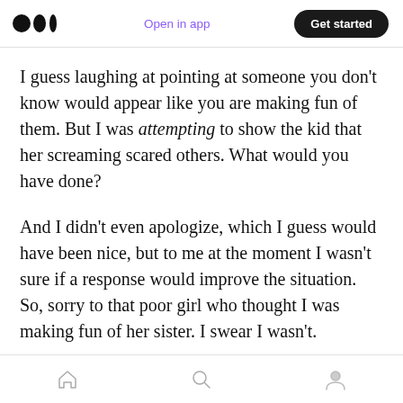Open in app | Get started
I guess laughing at pointing at someone you don't know would appear like you are making fun of them. But I was attempting to show the kid that her screaming scared others. What would you have done?
And I didn't even apologize, which I guess would have been nice, but to me at the moment I wasn't sure if a response would improve the situation. So, sorry to that poor girl who thought I was making fun of her sister. I swear I wasn't.
I often laugh at inappropriate times. There was…
Home | Search | Profile